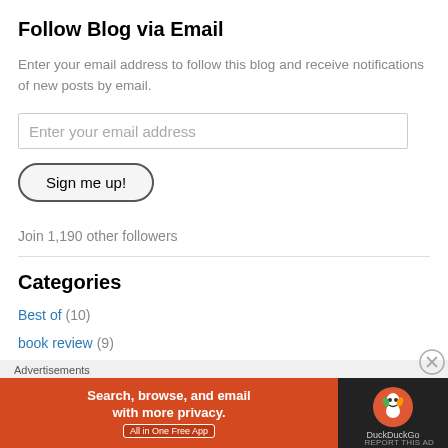Follow Blog via Email
Enter your email address to follow this blog and receive notifications of new posts by email.
Enter your email address
Sign me up!
Join 1,190 other followers
Categories
Best of (10)
book review (9)
[Figure (infographic): DuckDuckGo advertisement banner: 'Search, browse, and email with more privacy. All in One Free App' with DuckDuckGo logo on dark background]
Advertisements